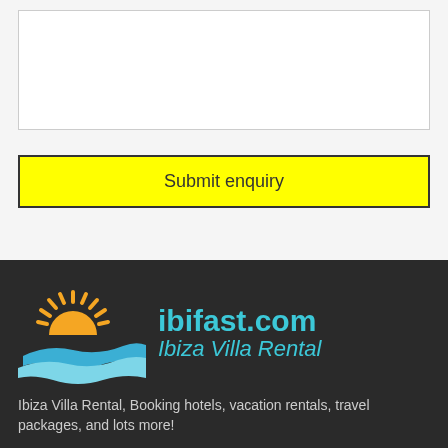[Figure (other): Empty white text input box with light border]
Submit enquiry
[Figure (logo): ibifast.com Ibiza Villa Rental logo with sun and waves graphic]
Ibiza Villa Rental, Booking hotels, vacation rentals, travel packages, and lots more!